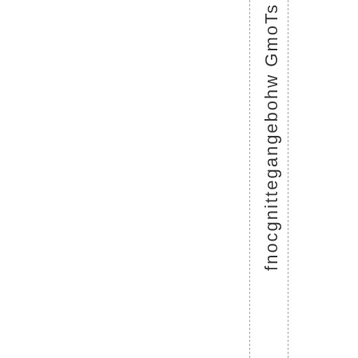s t Tom G who began getting conf